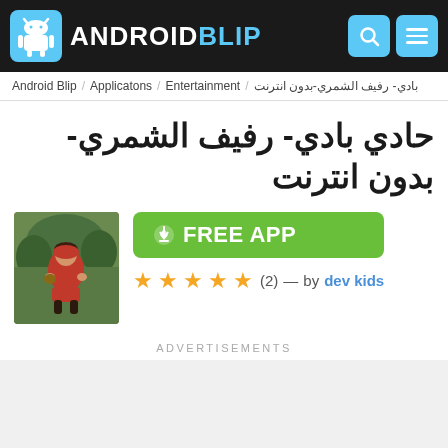ANDROIDBLIP
Android Blip / Applicatons / Entertainment / بادي- رفيف الشمري-بدون انترنت
حادي بادي- رفيف الشمري-بدون انترنت
[Figure (photo): App icon showing a woman in a red outfit in a forest setting]
FREE APP
★★★★★ (2) — by dev kids
ADVERTISEMENTS